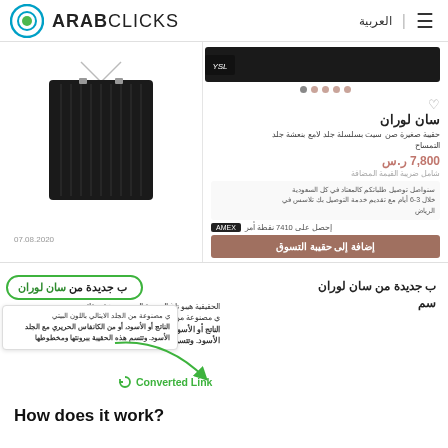ARABCLICKS — العربية
[Figure (screenshot): Screenshot of ArabClicks website showing a Saint Laurent bag product page with an article on the left panel and product details on the right, with a green tooltip circle highlighting 'سان لوران' text and a 'Converted Link' label with arrow]
Converted Link
How does it work?